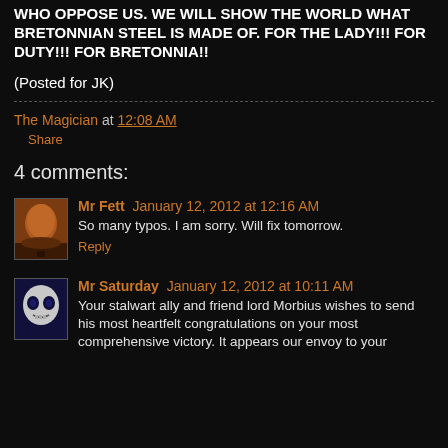WHO OPPOSE US. WE WILL SHOW THE WORLD WHAT BRETONNIAN STEEL IS MADE OF. FOR THE LADY!!! FOR DUTY!!! FOR BRETONNIA!!
(Posted for JK)
The Magician at 12:08 AM
Share
4 comments:
Mr Fett January 12, 2012 at 12:16 AM
So many typos. I am sorry. Will fix tomorrow.
Reply
Mr Saturday January 12, 2012 at 10:11 AM
Your stalwart ally and friend lord Morbius wishes to send his most heartfelt congratulations on your most comprehensive victory. It appears our envoy to your